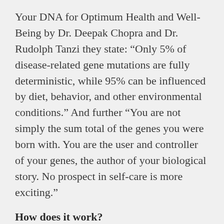Your DNA for Optimum Health and Well-Being by Dr. Deepak Chopra and Dr. Rudolph Tanzi they state: “Only 5% of disease-related gene mutations are fully deterministic, while 95% can be influenced by diet, behavior, and other environmental conditions.” And further “You are not simply the sum total of the genes you were born with. You are the user and controller of your genes, the author of your biological story. No prospect in self-care is more exciting.”
How does it work?
The normal development of cells is strongly influenced by epigenetic processes. Environment or lifestyle factors combined with nutrition and even